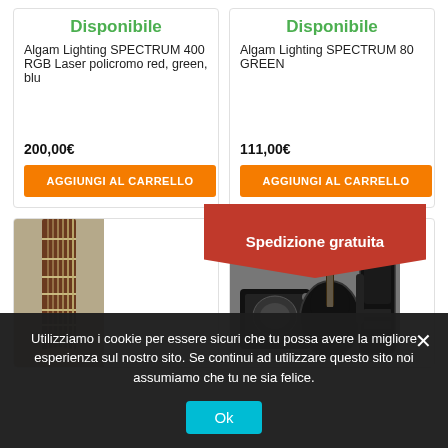Disponibile
Algam Lighting SPECTRUM 400 RGB Laser policromo red, green, blu
200,00€
AGGIUNGI AL CARRELLO
Disponibile
Algam Lighting SPECTRUM 80 GREEN
111,00€
AGGIUNGI AL CARRELLO
Spedizione gratuita
[Figure (photo): Guitar neck close-up]
[Figure (photo): Guitar set with amplifier and bag]
Utilizziamo i cookie per essere sicuri che tu possa avere la migliore esperienza sul nostro sito. Se continui ad utilizzare questo sito noi assumiamo che tu ne sia felice.
Ok